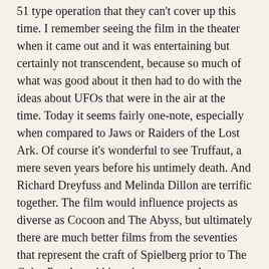51 type operation that they can't cover up this time. I remember seeing the film in the theater when it came out and it was entertaining but certainly not transcendent, because so much of what was good about it then had to do with the ideas about UFOs that were in the air at the time. Today it seems fairly one-note, especially when compared to Jaws or Raiders of the Lost Ark. Of course it's wonderful to see Truffaut, a mere seven years before his untimely death. And Richard Dreyfuss and Melinda Dillon are terrific together. The film would influence projects as diverse as Cocoon and The Abyss, but ultimately there are much better films from the seventies that represent the craft of Spielberg prior to The Color Purple and his trajectory toward more meaningful historical films.
In his essay for The A List, Matt Zoller Seitz does manage to touch on what remains powerful about the film, "not just what extraterrestrial life might look like but how proof of its existence might make us feel." But then he spends the bulk of the film recounting the plot, always a tip off that there isn't a whole lot to talk about otherwise. And that is the case here. It's telling that when Seitz does get around to analyzing the